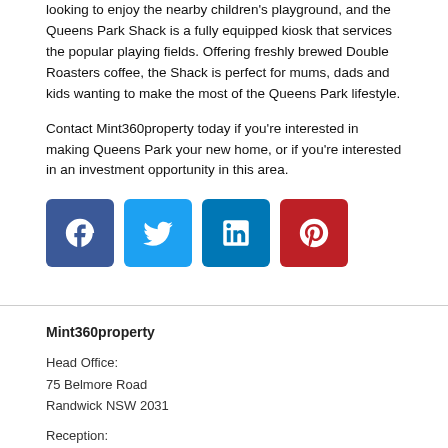looking to enjoy the nearby children's playground, and the Queens Park Shack is a fully equipped kiosk that services the popular playing fields. Offering freshly brewed Double Roasters coffee, the Shack is perfect for mums, dads and kids wanting to make the most of the Queens Park lifestyle.
Contact Mint360property today if you're interested in making Queens Park your new home, or if you're interested in an investment opportunity in this area.
[Figure (infographic): Four social media icon buttons: Facebook (blue), Twitter (light blue), LinkedIn (dark blue), Pinterest (red)]
Mint360property
Head Office:
75 Belmore Road
Randwick NSW 2031
Reception:
75 Belmore Road
Randwick NSW 2031
P 02 9326 7000